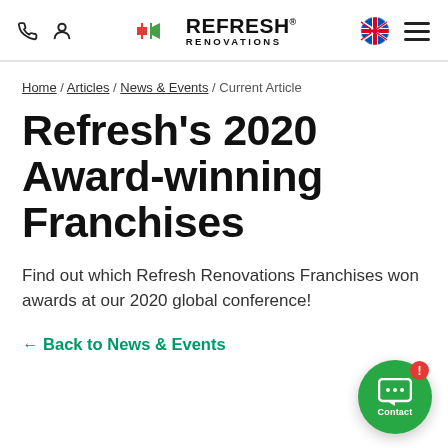Refresh Renovations – navigation header with phone, user, logo, NZ flag, hamburger menu
Home / Articles / News & Events / Current Article
Refresh's 2020 Award-winning Franchises
Find out which Refresh Renovations Franchises won awards at our 2020 global conference!
← Back to News & Events
[Figure (other): Green circular contact/chat button with speech bubble icon and 'Contact' label, with red notification badge showing exclamation mark]